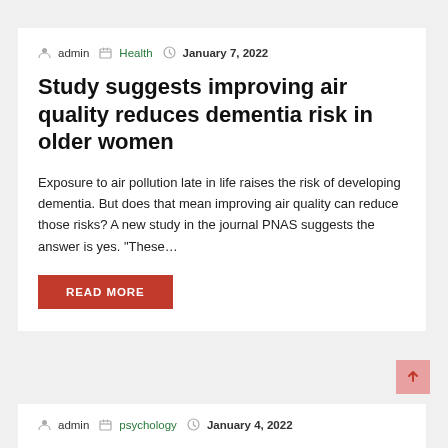admin  Health  January 7, 2022
Study suggests improving air quality reduces dementia risk in older women
Exposure to air pollution late in life raises the risk of developing dementia. But does that mean improving air quality can reduce those risks? A new study in the journal PNAS suggests the answer is yes. “These…
READ MORE
admin  psychology  January 4, 2022